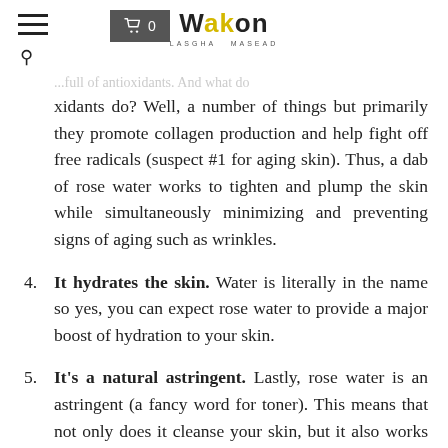WAKON LASGHA MASEAD
...full of antioxidants. And what do antioxidants do? Well, a number of things but primarily they promote collagen production and help fight off free radicals (suspect #1 for aging skin). Thus, a dab of rose water works to tighten and plump the skin while simultaneously minimizing and preventing signs of aging such as wrinkles.
4. It hydrates the skin. Water is literally in the name so yes, you can expect rose water to provide a major boost of hydration to your skin.
5. It's a natural astringent. Lastly, rose water is an astringent (a fancy word for toner). This means that not only does it cleanse your skin, but it also works to unclog pores, minimize the size of pores, and balance your skin's pH.